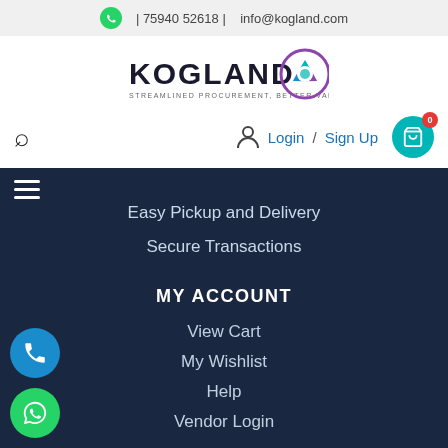| 75940 52618 |   info@kogland.com
[Figure (logo): Kogland logo with tagline STREAMLINED PROCUREMENT, BETTER VALUE]
Login / Sign Up
Easy Pickup and Delivery
Secure Transactions
MY ACCOUNT
View Cart
My Wishlist
Help
Vendor Login